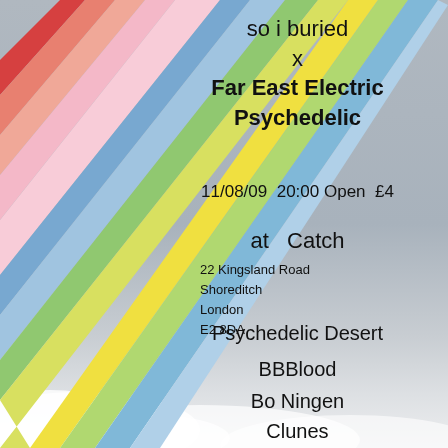[Figure (illustration): Rainbow stripes (red, orange/salmon, yellow, green, blue, light blue, pink) running diagonally from lower-left to upper-right across the left portion of the poster, over a grey sky background with white clouds at the bottom.]
so i buried x Far East Electric Psychedelic
11/08/09  20:00 Open  £4
at   Catch
22 Kingsland Road
Shoreditch
London
E2 8DA
Psychedelic Desert
BBBlood
Bo Ningen
Clunes